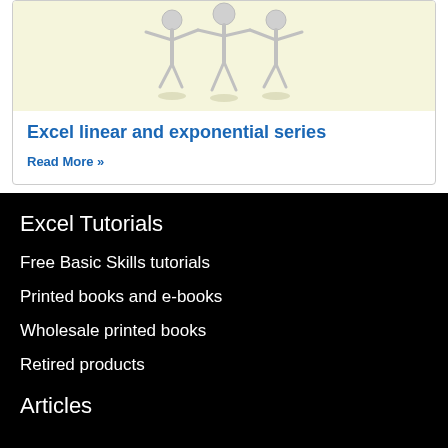[Figure (illustration): Three stick figures with raised arms holding hands together on a light yellow background]
Excel linear and exponential series
Read More »
Excel Tutorials
Free Basic Skills tutorials
Printed books and e-books
Wholesale printed books
Retired products
Articles